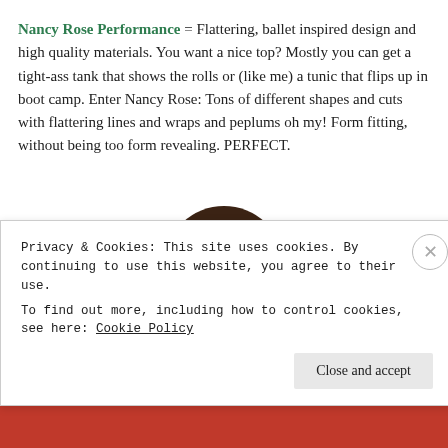Nancy Rose Performance = Flattering, ballet inspired design and high quality materials. You want a nice top? Mostly you can get a tight-ass tank that shows the rolls or (like me) a tunic that flips up in boot camp. Enter Nancy Rose: Tons of different shapes and cuts with flattering lines and wraps and peplums oh my! Form fitting, without being too form revealing. PERFECT.
[Figure (photo): Top portion of a person's head with dark brown hair visible, partially cropped.]
Privacy & Cookies: This site uses cookies. By continuing to use this website, you agree to their use.
To find out more, including how to control cookies, see here: Cookie Policy
Close and accept